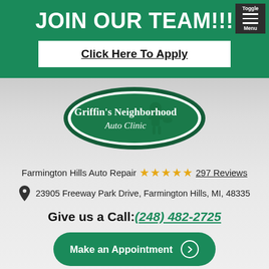JOIN OUR TEAM!!!
Click Here To Apply
[Figure (logo): Griffin's Neighborhood Auto Clinic green oval logo with mechanic illustration]
Farmington Hills Auto Repair ★★★★★ 297 Reviews
23905 Freeway Park Drive, Farmington Hills, MI, 48335
Give us a Call: (248) 482-2725
Make an Appointment